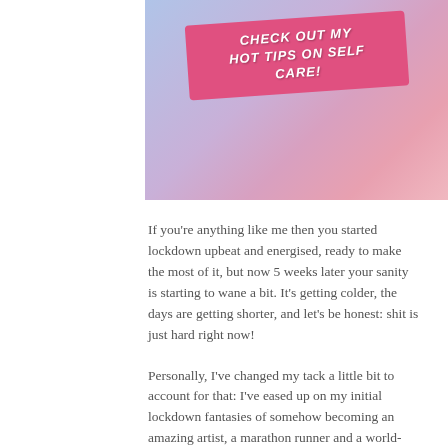[Figure (illustration): A colorful banner image with a pink/purple gradient background and a pink diagonal text overlay that reads 'CHECK OUT MY HOT TIPS ON SELF CARE!']
If you're anything like me then you started lockdown upbeat and energised, ready to make the most of it, but now 5 weeks later your sanity is starting to wane a bit. It's getting colder, the days are getting shorter, and let's be honest: shit is just hard right now!
Personally, I've changed my tack a little bit to account for that: I've eased up on my initial lockdown fantasies of somehow becoming an amazing artist, a marathon runner and a world-famous chef, all in 5 weeks. I'll keep working at